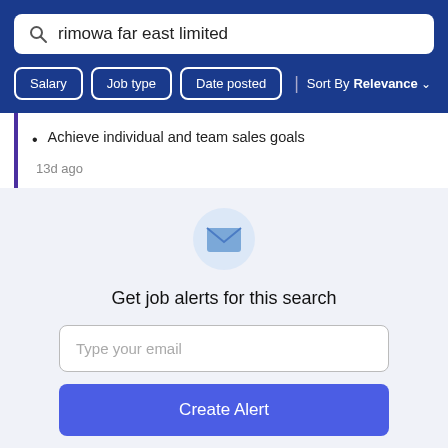rimowa far east limited
Salary | Job type | Date posted | Sort By Relevance
Achieve individual and team sales goals
13d ago
[Figure (illustration): Envelope mail icon inside a light blue circle]
Get job alerts for this search
Type your email
Create Alert